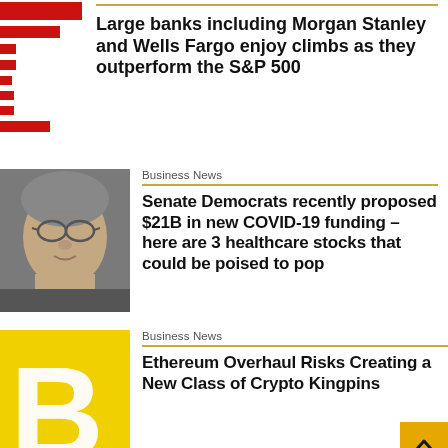[Figure (bar-chart): Horizontal bar chart with red bars of varying lengths, representing bank stock performance data]
Large banks including Morgan Stanley and Wells Fargo enjoy climbs as they outperform the S&P 500
Business News
[Figure (photo): Close-up photo of an elderly man with glasses, appearing to be a politician or businessman]
Senate Democrats recently proposed $21B in new COVID-19 funding – here are 3 healthcare stocks that could be poised to pop
Business News
[Figure (logo): Yellow background with large white letter B, representing a Benzinga or Bloomberg-style logo]
Ethereum Overhaul Risks Creating a New Class of Crypto Kingpins